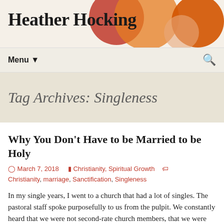Heather Hocking
Menu ▼
Tag Archives: Singleness
Why You Don't Have to be Married to be Holy
March 7, 2018  Christianity, Spiritual Growth  Christianity, marriage, Sanctification, Singleness
In my single years, I went to a church that had a lot of singles. The pastoral staff spoke purposefully to us from the pulpit. We constantly heard that we were not second-rate church members, that we were deeply valued and